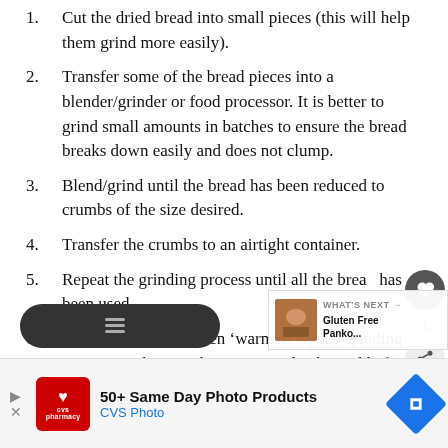Cut the dried bread into small pieces (this will help them grind more easily).
Transfer some of the bread pieces into a blender/grinder or food processor. It is better to grind small amounts in batches to ensure the bread breaks down easily and does not clump.
Blend/grind until the bread has been reduced to crumbs of the size desired.
Transfer the crumbs to an airtight container.
Repeat the grinding process until all the bread has been used.
If the crumbs have been ‘warmed’ by the grinding process, make sure they are completely cool before sealing the container (warmth will accelerate any potential moulding).
[Figure (other): WHAT'S NEXT panel with thumbnail image and text: Gluten Free Panko...]
[Figure (other): CVS Photo advertisement banner: 50+ Same Day Photo Products]
[Figure (other): Navigation button (dark rounded rectangle) at bottom left]